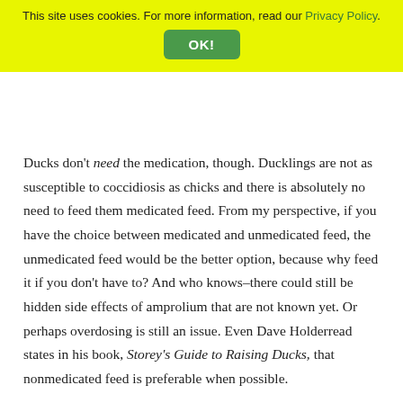This site uses cookies. For more information, read our Privacy Policy. OK!
Ducks don't need the medication, though. Ducklings are not as susceptible to coccidiosis as chicks and there is absolutely no need to feed them medicated feed. From my perspective, if you have the choice between medicated and unmedicated feed, the unmedicated feed would be the better option, because why feed it if you don't have to? And who knows–there could still be hidden side effects of amprolium that are not known yet. Or perhaps overdosing is still an issue. Even Dave Holderread states in his book, Storey's Guide to Raising Ducks, that nonmedicated feed is preferable when possible.
Here's a link from Metzer Farms about feeding medicated feed to ducklings: https://metzerfarms.blogspot.com/2011/11/can-medicated-feed-be-used-for.html